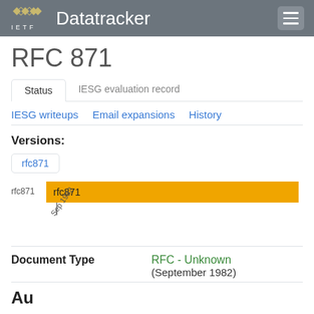IETF Datatracker
RFC 871
Status | IESG evaluation record
IESG writeups   Email expansions   History
Versions:
rfc871
[Figure (bar-chart): rfc871 timeline]
Document Type   RFC - Unknown (September 1982)
Au...